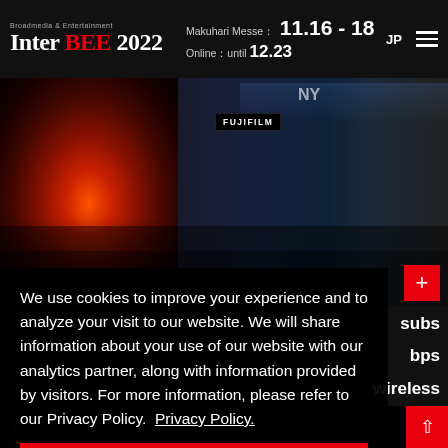Broadmedia & Entertainment Inter BEE 2022 | Makuhari Messe: 11.16-18 | Online: until 12.23 | JP
[Figure (photo): Exhibition hall photo showing large screen display with fire/lava visuals on left side, and crowded convention floor with FUJIFILM and SONY signage on right side]
We use cookies to improve your experience and to analyze your visit to our website. We will share information about your use of our website with our analytics partner, along with information provided by visitors. For more information, please refer to our Privacy Policy. Privacy Policy.
I Agree